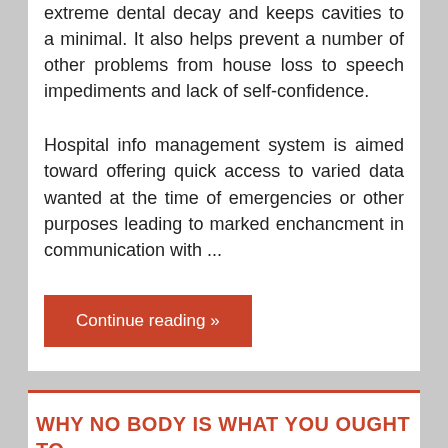extreme dental decay and keeps cavities to a minimal. It also helps prevent a number of other problems from house loss to speech impediments and lack of self-confidence.
Hospital info management system is aimed toward offering quick access to varied data wanted at the time of emergencies or other purposes leading to marked enchancment in communication with ...
Continue reading »
WHY NO BODY IS WHAT YOU OUGHT TO